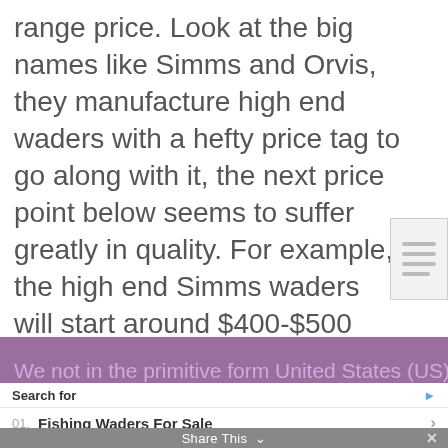range price. Look at the big names like Simms and Orvis, they manufacture high end waders with a hefty price tag to go along with it, the next price point below seems to suffer greatly in quality. For example, the high end Simms waders will start around $400-$500 USD, the typical next price step down is often around the $250-$350 USD. This step down comes with a significant drop in quality. Where is the middle of the road priced wader?! This is the lane I believe DRYFT has addressed and without sacrificing quality.
[Figure (screenshot): Purple banner bar overlaying the bottom of the article text]
Search for
01. Fishing Waders For Sale
02. Charter Fishing Trips
Share This
Yahoo! Search | Sponsored